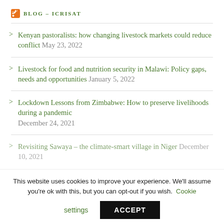BLOG – ICRISAT
Kenyan pastoralists: how changing livestock markets could reduce conflict May 23, 2022
Livestock for food and nutrition security in Malawi: Policy gaps, needs and opportunities January 5, 2022
Lockdown Lessons from Zimbabwe: How to preserve livelihoods during a pandemic December 24, 2021
Revisiting Sawaya – the climate-smart village in Niger December 10, 2021
This website uses cookies to improve your experience. We'll assume you're ok with this, but you can opt-out if you wish. Cookie settings ACCEPT